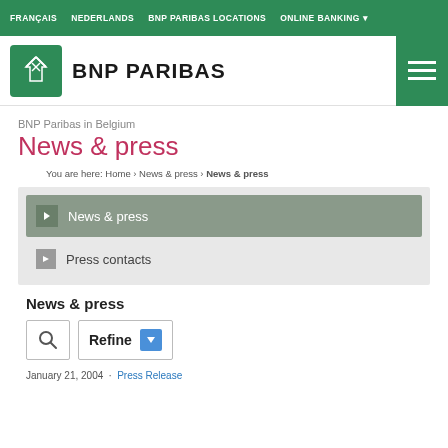FRANÇAIS   NEDERLANDS   BNP PARIBAS LOCATIONS   ONLINE BANKING
[Figure (logo): BNP Paribas logo with green star icon and text BNP PARIBAS]
BNP Paribas in Belgium
News & press
You are here: Home › News & press › News & press
News & press
Press contacts
News & press
Refine
January 21, 2004 · Press Release